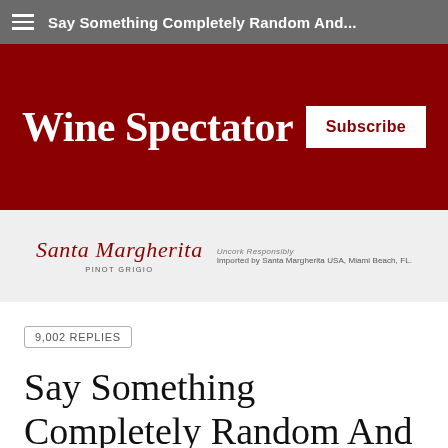Say Something Completely Random And...
[Figure (logo): Wine Spectator logo with Subscribe button on dark red background]
[Figure (illustration): Santa Margherita Pinot Grigio advertisement banner. Text: Santa Margherita PINOT GRIGIO. Uncork Responsibly. Imported by Santa Margherita USA, Miami Beach, FL.]
9,002 REPLIES
Say Something Completely Random And Off Topic